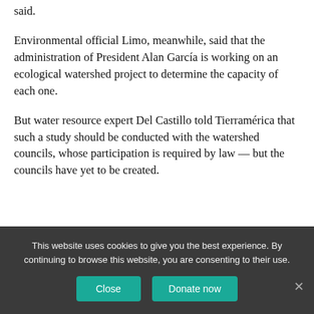said.
Environmental official Limo, meanwhile, said that the administration of President Alan García is working on an ecological watershed project to determine the capacity of each one.
But water resource expert Del Castillo told Tierramérica that such a study should be conducted with the watershed councils, whose participation is required by law — but the councils have yet to be created.
*This story was originally published by Sertin...
This website uses cookies to give you the best experience. By continuing to browse this website, you are consenting to their use.